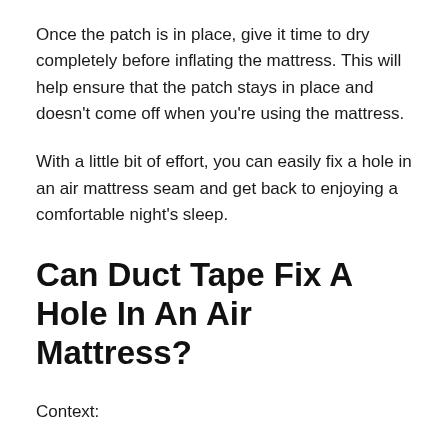Once the patch is in place, give it time to dry completely before inflating the mattress. This will help ensure that the patch stays in place and doesn't come off when you're using the mattress.
With a little bit of effort, you can easily fix a hole in an air mattress seam and get back to enjoying a comfortable night's sleep.
Can Duct Tape Fix A Hole In An Air Mattress?
Context:
Duct tape is an incredibly versatile material that can be used for a variety of purposes, including patching a hole in